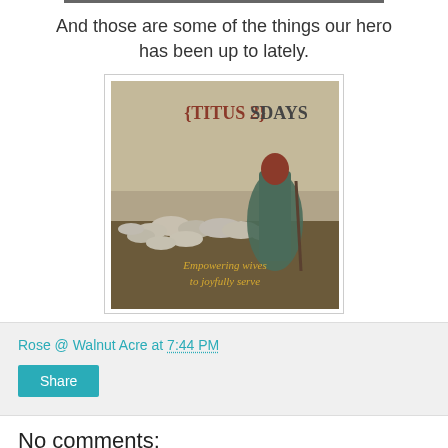And those are some of the things our hero has been up to lately.
[Figure (illustration): An image for {Titus 2}sdays showing a shepherdess with a flock of sheep in a field. Text reads '{TITUS 2}SDAYS' at the top and 'Empowering wives to joyfully serve' at the bottom.]
Rose @ Walnut Acre at 7:44 PM
Share
No comments: